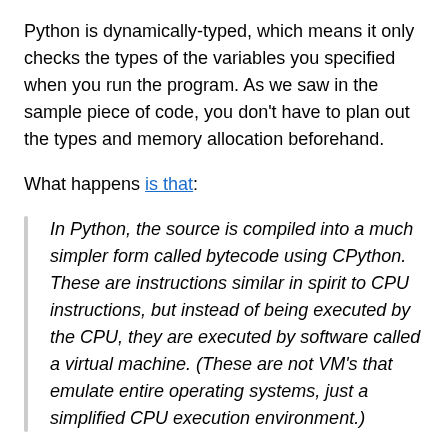Python is dynamically-typed, which means it only checks the types of the variables you specified when you run the program. As we saw in the sample piece of code, you don't have to plan out the types and memory allocation beforehand.
What happens is that:
In Python, the source is compiled into a much simpler form called bytecode using CPython. These are instructions similar in spirit to CPU instructions, but instead of being executed by the CPU, they are executed by software called a virtual machine. (These are not VM's that emulate entire operating systems, just a simplified CPU execution environment.)
When CPython is building the program, how does it know